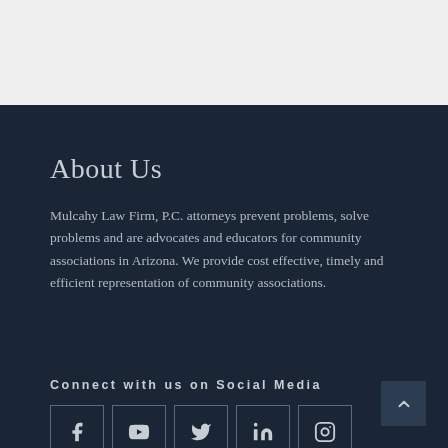About Us
Mulcahy Law Firm, P.C. attorneys prevent problems, solve problems and are advocates and educators for community associations in Arizona. We provide cost effective, timely and efficient representation of community associations.
Connect with us on Social Media
[Figure (infographic): Row of 5 social media icon buttons (Facebook, YouTube, Twitter, LinkedIn, Instagram) with square borders on dark background]